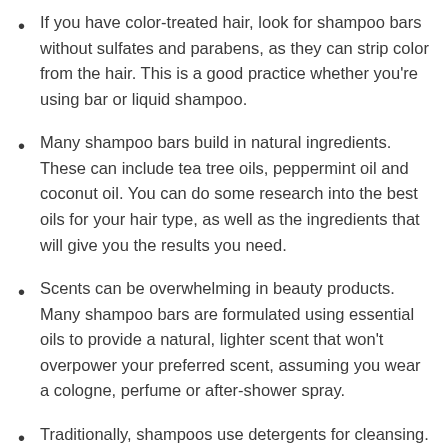If you have color-treated hair, look for shampoo bars without sulfates and parabens, as they can strip color from the hair. This is a good practice whether you're using bar or liquid shampoo.
Many shampoo bars build in natural ingredients. These can include tea tree oils, peppermint oil and coconut oil. You can do some research into the best oils for your hair type, as well as the ingredients that will give you the results you need.
Scents can be overwhelming in beauty products. Many shampoo bars are formulated using essential oils to provide a natural, lighter scent that won't overpower your preferred scent, assuming you wear a cologne, perfume or after-shower spray.
Traditionally, shampoos use detergents for cleansing.